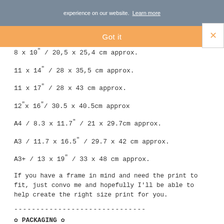experience on our website. Learn more
Got it
8 x 10" / 20,5 x 25,4 cm approx.
11 x 14" / 28 x 35,5 cm approx.
11 x 17" / 28 x 43 cm approx.
12"x 16"/ 30.5 x 40.5cm approx
A4 / 8.3 x 11.7" / 21 x 29.7cm approx.
A3 / 11.7 x 16.5" / 29.7 x 42 cm approx.
A3+ / 13 x 19" / 33 x 48 cm approx.
If you have a frame in mind and need the print to fit, just convo me and hopefully I'll be able to help create the right size print for you.
------------------------------
✿ PACKAGING ✿